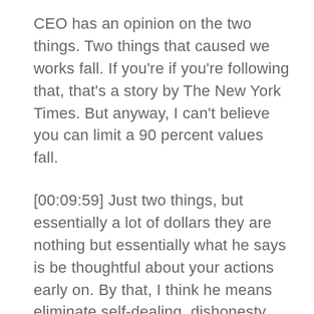CEO has an opinion on the two things. Two things that caused we works fall. If you're if you're following that, that's a story by The New York Times. But anyway, I can't believe you can limit a 90 percent values fall.
[00:09:59] Just two things, but essentially a lot of dollars they are nothing but essentially what he says is be thoughtful about your actions early on. By that, I think he means eliminate self-dealing, dishonesty and hubris. So you guys can tell it a little bit passionate. That's a great